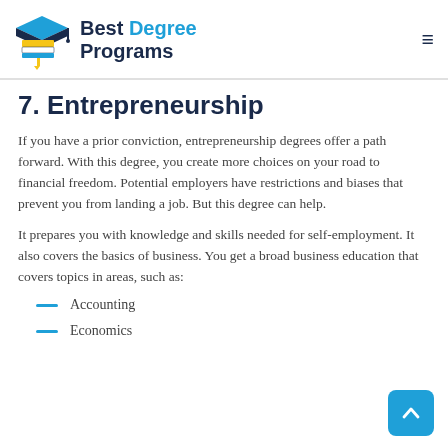Best Degree Programs
7. Entrepreneurship
If you have a prior conviction, entrepreneurship degrees offer a path forward. With this degree, you create more choices on your road to financial freedom. Potential employers have restrictions and biases that prevent you from landing a job. But this degree can help.
It prepares you with knowledge and skills needed for self-employment. It also covers the basics of business. You get a broad business education that covers topics in areas, such as:
Accounting
Economics